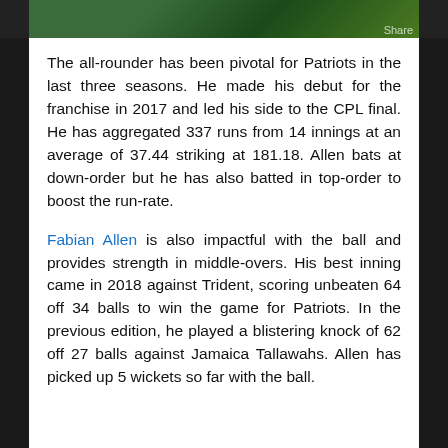[Figure (photo): Cropped sports photo showing players in green jersey, partially visible at the top of the page]
The all-rounder has been pivotal for Patriots in the last three seasons. He made his debut for the franchise in 2017 and led his side to the CPL final. He has aggregated 337 runs from 14 innings at an average of 37.44 striking at 181.18. Allen bats at down-order but he has also batted in top-order to boost the run-rate.
Fabian Allen is also impactful with the ball and provides strength in middle-overs. His best inning came in 2018 against Trident, scoring unbeaten 64 off 34 balls to win the game for Patriots. In the previous edition, he played a blistering knock of 62 off 27 balls against Jamaica Tallawahs. Allen has picked up 5 wickets so far with the ball.